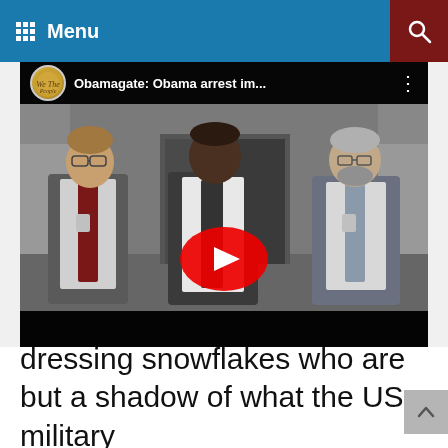Menu
[Figure (screenshot): YouTube video thumbnail showing three men in suits walking, with video title 'Obamagate: Obama arrest im...' and a YouTube play button overlay]
dressing snowflakes who are but a shadow of what the US military